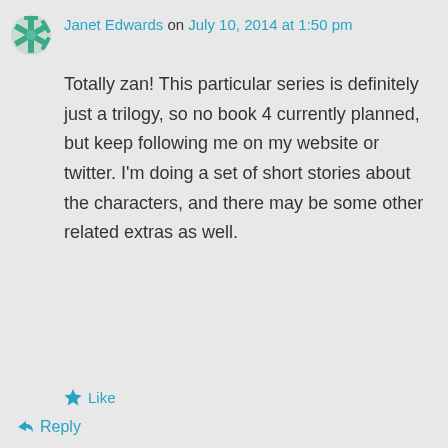Janet Edwards on July 10, 2014 at 1:50 pm
Totally zan! This particular series is definitely just a trilogy, so no book 4 currently planned, but keep following me on my website or twitter. I'm doing a set of short stories about the characters, and there may be some other related extras as well.
★ Like
↳ Reply
Rachel on September 16, 2014 at 2:10 am
would there be able to be more than